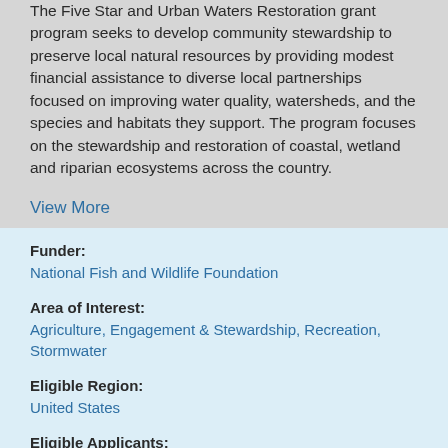The Five Star and Urban Waters Restoration grant program seeks to develop community stewardship to preserve local natural resources by providing modest financial assistance to diverse local partnerships focused on improving water quality, watersheds, and the species and habitats they support. The program focuses on the stewardship and restoration of coastal, wetland and riparian ecosystems across the country.
View More
Funder:
National Fish and Wildlife Foundation
Area of Interest:
Agriculture, Engagement & Stewardship, Recreation, Stormwater
Eligible Region:
United States
Eligible Applicants:
Non-profit 501(c) Organizations, Local Governments, Municipal Governments, Indian Tribes, and Educational